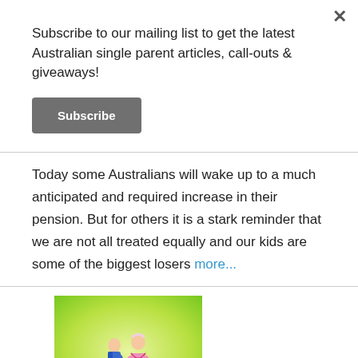Subscribe to our mailing list to get the latest Australian single parent articles, call-outs & giveaways!
Subscribe
Today some Australians will wake up to a much anticipated and required increase in their pension. But for others it is a stark reminder that we are not all treated equally and our kids are some of the biggest losers more...
[Figure (photo): Wedding cake topper figurines: a groom in blue suit bowing to a pink dress bride figure on a white cake, with green and yellow background]